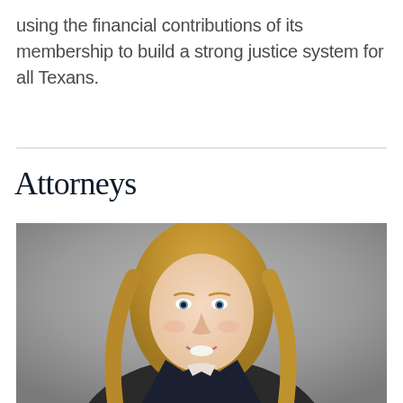using the financial contributions of its membership to build a strong justice system for all Texans.
Attorneys
[Figure (photo): Professional headshot of a smiling woman with long blonde hair, wearing a dark blazer, set against a neutral gray background.]